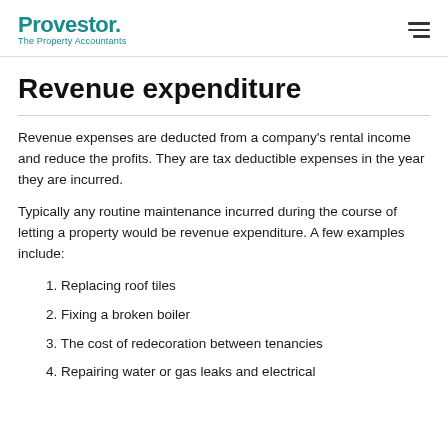Provestor. The Property Accountants
Revenue expenditure
Revenue expenses are deducted from a company's rental income and reduce the profits. They are tax deductible expenses in the year they are incurred.
Typically any routine maintenance incurred during the course of letting a property would be revenue expenditure. A few examples include:
1. Replacing roof tiles
2. Fixing a broken boiler
3. The cost of redecoration between tenancies
4. Repairing water or gas leaks and electrical